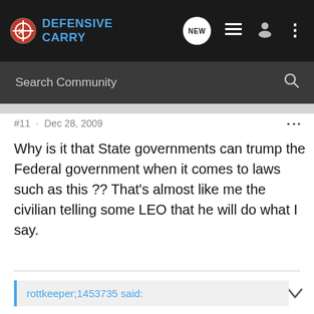Defensive Carry
Search Community
#11 · Dec 28, 2009
Why is it that State governments can trump the Federal government when it comes to laws such as this ?? That's almost like me the civilian telling some LEO that he will do what I say.
rottkeeper;1453735 said:
[Figure (screenshot): FN Five-seveN advertisement banner: 20-RD MAGAZINE, MRD-READY | LOW RECOIL]